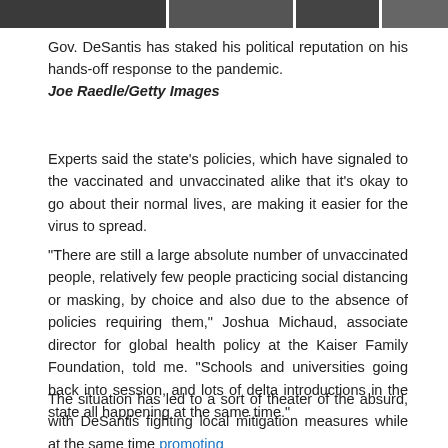[Figure (photo): Cropped top portion of a photograph, partially visible strip showing people, dark and partially obscured]
Gov. DeSantis has staked his political reputation on his hands-off response to the pandemic.
Joe Raedle/Getty Images
Experts said the state’s policies, which have signaled to the vaccinated and unvaccinated alike that it’s okay to go about their normal lives, are making it easier for the virus to spread.
“There are still a large absolute number of unvaccinated people, relatively few people practicing social distancing or masking, by choice and also due to the absence of policies requiring them,” Joshua Michaud, associate director for global health policy at the Kaiser Family Foundation, told me. “Schools and universities going back into session, and lots of delta introductions in the state all happening at the same time.”
The situation has led to a sort of theater of the absurd, with DeSantis fighting local mitigation measures while at the same time promoting